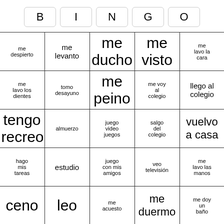BINGO
| B | I | N | G | O |
| --- | --- | --- | --- | --- |
| me despierto | me levanto | me ducho | me visto | me lavo la cara |
| me lavo los dientes | tomo desayuno | me peino | me voy al colegio | llego al colegio |
| tengo recreo | almuerzo | juego video juegos | salgo del colegio | vuelvo a casa |
| hago mis tareas | estudio | juego con mis amigos | veo televisión | me lavo las manos |
| ceno | leo | me acuesto | me duermo | me doy un baño |